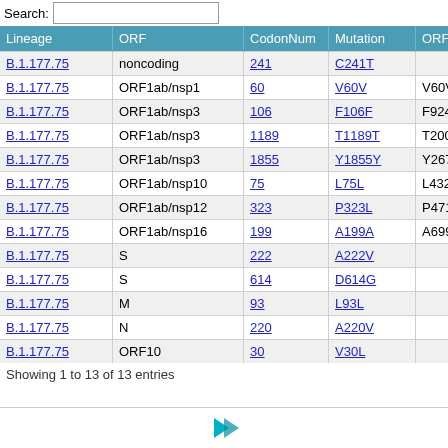Search:
| Lineage | ORF | CodonNum | Mutation | ORF1ab | M |
| --- | --- | --- | --- | --- | --- |
| B.1.177.75 | noncoding | 241 | C241T |  | n |
| B.1.177.75 | ORF1ab/nsp1 | 60 | V60V | V60V | s |
| B.1.177.75 | ORF1ab/nsp3 | 106 | F106F | F924F | s |
| B.1.177.75 | ORF1ab/nsp3 | 1189 | T1189T | T2007T | s |
| B.1.177.75 | ORF1ab/nsp3 | 1855 | Y1855Y | Y2673Y | s |
| B.1.177.75 | ORF1ab/nsp10 | 75 | L75L | L4328L | s |
| B.1.177.75 | ORF1ab/nsp12 | 323 | P323L | P4715L | n |
| B.1.177.75 | ORF1ab/nsp16 | 199 | A199A | A6997A | s |
| B.1.177.75 | S | 222 | A222V |  | n |
| B.1.177.75 | S | 614 | D614G |  | n |
| B.1.177.75 | M | 93 | L93L |  | s |
| B.1.177.75 | N | 220 | A220V |  | n |
| B.1.177.75 | ORF10 | 30 | V30L |  | n |
Showing 1 to 13 of 13 entries